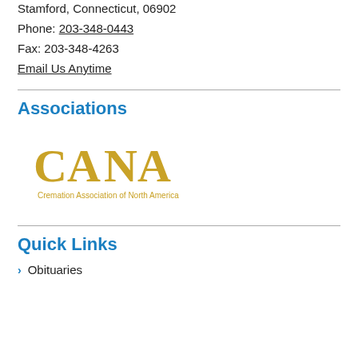Stamford, Connecticut, 06902
Phone: 203-348-0443
Fax: 203-348-4263
Email Us Anytime
Associations
[Figure (logo): CANA - Cremation Association of North America logo in gold/yellow color]
Quick Links
Obituaries